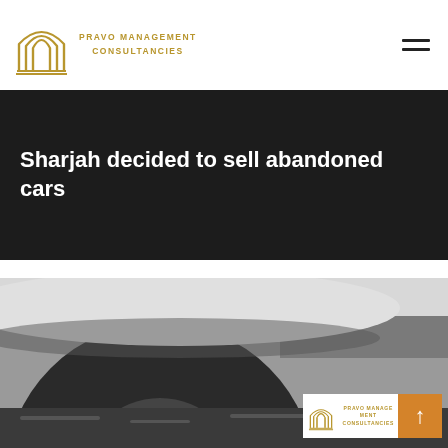PRAVO MANAGEMENT CONSULTANCIES
Sharjah decided to sell abandoned cars
[Figure (photo): Close-up photo of a car wheel/tire, partially visible, with a waterlogged or dirty surface visible. Background is dark. In the lower right corner, a small badge shows the Pravo Management Consultancies logo and an orange arrow button.]